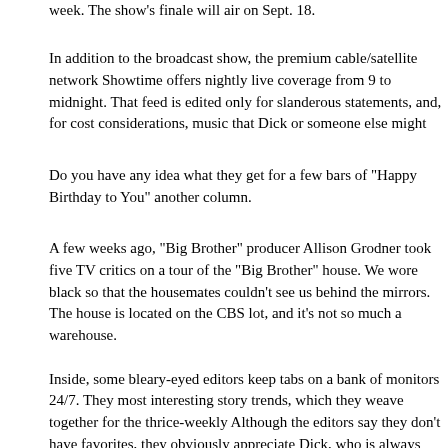week. The show's finale will air on Sept. 18.
In addition to the broadcast show, the premium cable/satellite network Showtime offers nightly live coverage from 9 to midnight. That feed is edited only for slanderous statements, and, for cost considerations, music that Dick or someone else might
Do you have any idea what they get for a few bars of "Happy Birthday to You" another column.
A few weeks ago, "Big Brother" producer Allison Grodner took five TV critics on a tour of the "Big Brother" house. We wore black so that the housemates couldn't see us behind the mirrors. The house is located on the CBS lot, and it's not so much a warehouse.
Inside, some bleary-eyed editors keep tabs on a bank of monitors 24/7. They most interesting story trends, which they weave together for the thrice-weekly Although the editors say they don't have favorites, they obviously appreciate Dick, who is always offering some fireworks, and crazy Jen, the Hollywood nail crazier than an inbred Chihuahua.
The reality show, in which reality plays a very small role, follows the housemates recording their every move — and that includes a potty cam that Grodner assures such poor quality you really can't get any detailed shots.
In our peek around the place, there was a narrow escape from seeing one resident emerge from his shower.